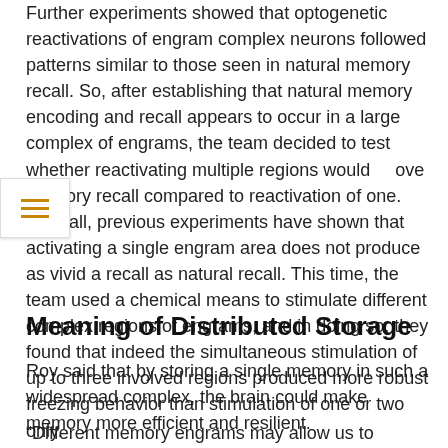Further experiments showed that optogenetic reactivations of engram complex neurons followed patterns similar to those seen in natural memory recall. So, after establishing that natural memory encoding and recall appears to occur in a large complex of engrams, the team decided to test whether reactivating multiple regions would improve memory recall compared to reactivation of one. After all, previous experiments have shown that activating a single engram area does not produce as vivid a recall as natural recall. This time, the team used a chemical means to stimulate different complex regions of engrams, and in doing so, they found that indeed the simultaneous stimulation of up to three involved regions produced more robust freezing behavior than stimulation of one or two only.
Meaning of Distributed Storage
Roy said that by storing a single memory in such a widespread complex, the brain could make memory more efficient and resilient.
“Different memory engrams may allow us to recreate memories more